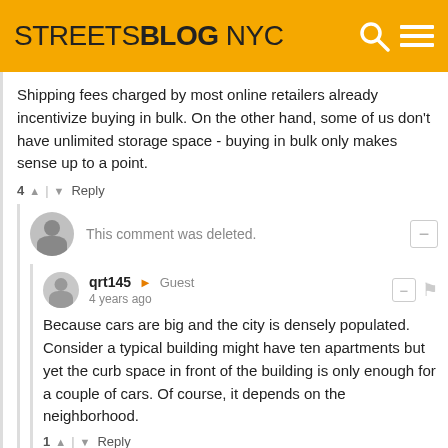STREETSBLOG NYC
Shipping fees charged by most online retailers already incentivize buying in bulk. On the other hand, some of us don't have unlimited storage space - buying in bulk only makes sense up to a point.
4 ↑ | ↓ Reply
This comment was deleted.
qrt145 → Guest
4 years ago
Because cars are big and the city is densely populated. Consider a typical building might have ten apartments but yet the curb space in front of the building is only enough for a couple of cars. Of course, it depends on the neighborhood.
1 ↑ | ↓ Reply
Wilfried84 → Andrew